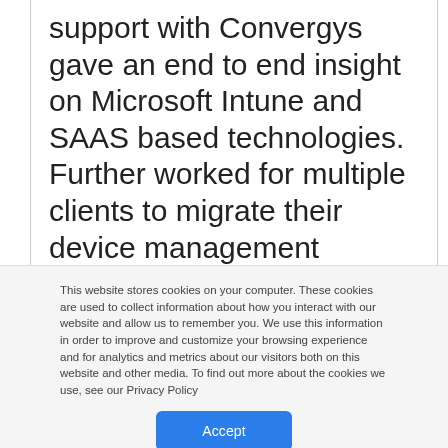support with Convergys gave an end to end insight on Microsoft Intune and SAAS based technologies. Further worked for multiple clients to migrate their device management strategies from on-prem to cloud mostly Intune and AirWatch (VMware Workspace ONE). Worked with HCL and now with ITC infotech as Intune consultant for
This website stores cookies on your computer. These cookies are used to collect information about how you interact with our website and allow us to remember you. We use this information in order to improve and customize your browsing experience and for analytics and metrics about our visitors both on this website and other media. To find out more about the cookies we use, see our Privacy Policy
Accept